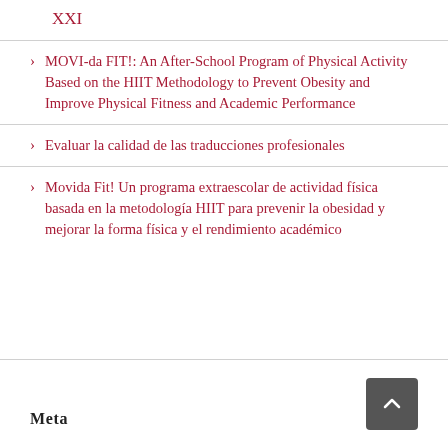XXI
MOVI-da FIT!: An After-School Program of Physical Activity Based on the HIIT Methodology to Prevent Obesity and Improve Physical Fitness and Academic Performance
Evaluar la calidad de las traducciones profesionales
Movida Fit! Un programa extraescolar de actividad física basada en la metodología HIIT para prevenir la obesidad y mejorar la forma física y el rendimiento académico
Meta